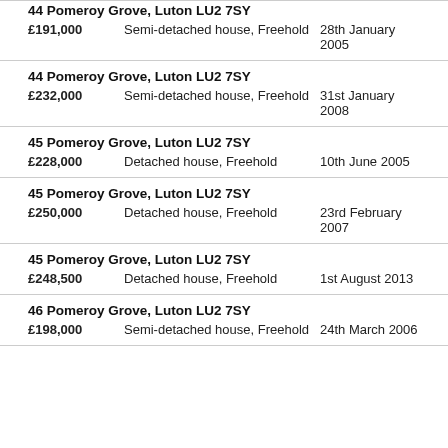44 Pomeroy Grove, Luton LU2 7SY — £191,000 — Semi-detached house, Freehold — 28th January 2005
44 Pomeroy Grove, Luton LU2 7SY — £232,000 — Semi-detached house, Freehold — 31st January 2008
45 Pomeroy Grove, Luton LU2 7SY — £228,000 — Detached house, Freehold — 10th June 2005
45 Pomeroy Grove, Luton LU2 7SY — £250,000 — Detached house, Freehold — 23rd February 2007
45 Pomeroy Grove, Luton LU2 7SY — £248,500 — Detached house, Freehold — 1st August 2013
46 Pomeroy Grove, Luton LU2 7SY — £198,000 — Semi-detached house, Freehold — 24th March 2006